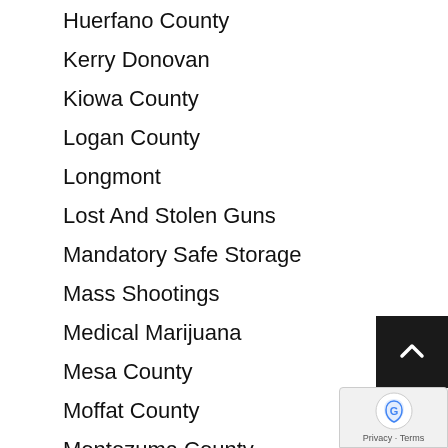Huerfano County
Kerry Donovan
Kiowa County
Logan County
Longmont
Lost And Stolen Guns
Mandatory Safe Storage
Mass Shootings
Medical Marijuana
Mesa County
Moffat County
Montezuma County
NRA